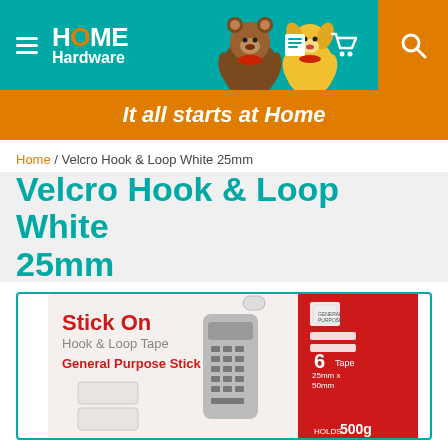HOME Hardware — It all starts at Home
Home / Velcro Hook & Loop White 25mm
Velcro Hook & Loop White 25mm
[Figure (photo): Product package photo: Stick On Hook & Loop Tape — General Purpose Stick On. 6 Tape 25mm x 50mm. Holds 500g. White velcro strips shown on packaging with a TV remote control.]